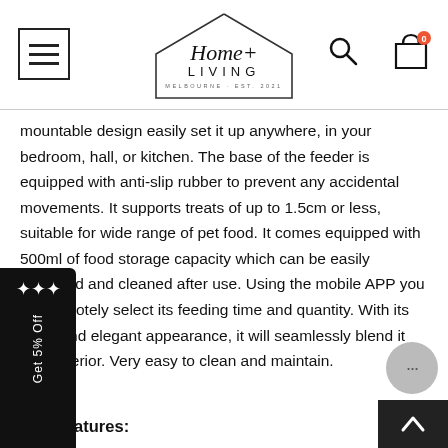[Figure (logo): Home + Living Melbourne Est. 2021 logo inside a house outline shape]
mountable design easily set it up anywhere, in your bedroom, hall, or kitchen. The base of the feeder is equipped with anti-slip rubber to prevent any accidental movements. It supports treats of up to 1.5cm or less, suitable for wide range of pet food. It comes equipped with 500ml of food storage capacity which can be easily detached and cleaned after use. Using the mobile APP you can remotely select its feeding time and quantity. With its sleek and elegant appearance, it will seamlessly blend it your interior. Very easy to clean and maintain.
Key Features: